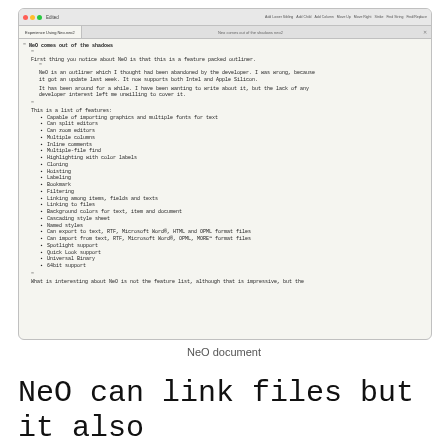[Figure (screenshot): Screenshot of NeO outliner application on macOS showing a document titled 'NeO comes out of the shadows' with an outline structure listing features of the application]
NeO document
NeO can link files but it also